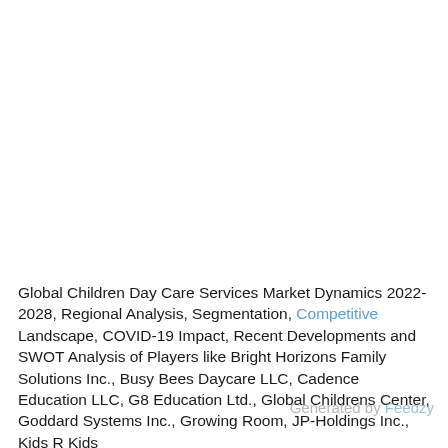Global Children Day Care Services Market Dynamics 2022-2028, Regional Analysis, Segmentation, Competitive Landscape, COVID-19 Impact, Recent Developments and SWOT Analysis of Players like Bright Horizons Family Solutions Inc., Busy Bees Daycare LLC, Cadence Education LLC, G8 Education Ltd., Global Childrens Center, Goddard Systems Inc., Growing Room, JP-Holdings Inc., Kids R Kids